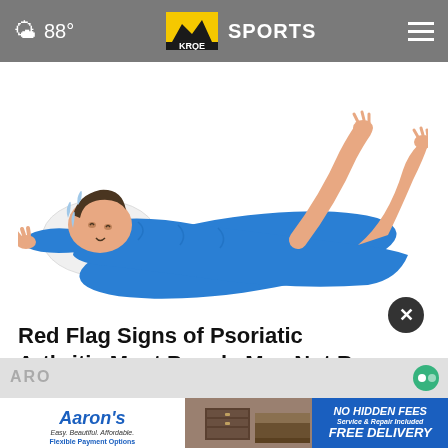88° KRQE SPORTS
[Figure (illustration): Illustration of a person lying on their back in a blue outfit, appearing to be in pain or discomfort, with arms raised, suggesting joint pain or arthritis symptoms.]
Red Flag Signs of Psoriatic Arthritis Most People May Not Be Aware of
Ad by Arthritis | Sponsored Links
[Figure (other): Aaron's advertisement banner: Aaron's logo with tagline 'Easy. Beautiful. Affordable.' and 'Flexible Payment Options', furniture photo, and blue panel reading 'NO HIDDEN FEES Service & Repair Included FREE DELIVERY']